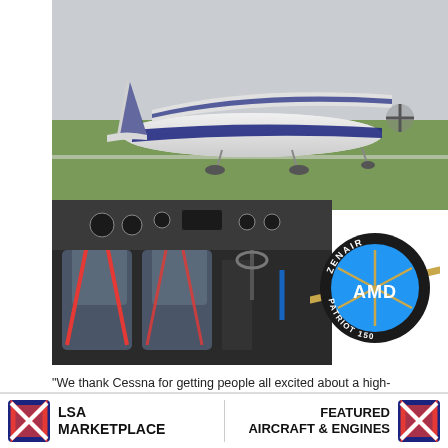[Figure (photo): Light sport aircraft (Zenair Zodiac CH-601) parked on grass, white and blue color scheme, high-wing design, seen from front-right angle]
[Figure (photo): Interior cockpit photo showing blue seats with red harness straps and instrument panel]
[Figure (logo): Zenair AMD Patriot 150 circular logo with black ring, blue circle center, gold star/cross design, AMD text in white]
“We thank Cessna for getting people all excited about a high-wing, all-metal, Continental O-200-powered LSA,” exclaimed John Degonia, sales director for AMD, seller of the Zodiac CH-601. The Wichita giant has confirmed LSA enthusiasm with more than 700 Skycatcher orders, but it
LSA MARKETPLACE | FEATURED AIRCRAFT & ENGINES